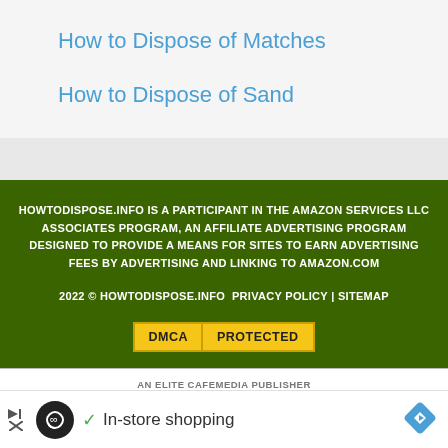How to Dispose of Matches
How to Dispose of Sand
HOWTODISPOSE.INFO IS A PARTICIPANT IN THE AMAZON SERVICES LLC ASSOCIATES PROGRAM, AN AFFILIATE ADVERTISING PROGRAM DESIGNED TO PROVIDE A MEANS FOR SITES TO EARN ADVERTISING FEES BY ADVERTISING AND LINKING TO AMAZON.COM
2022 © HOWTODISPOSE.INFO PRIVACY POLICY | SITEMAP
[Figure (logo): DMCA PROTECTED badge in yellow with black text]
AN ELITE CAFEMEDIA PUBLISHER
In-store shopping